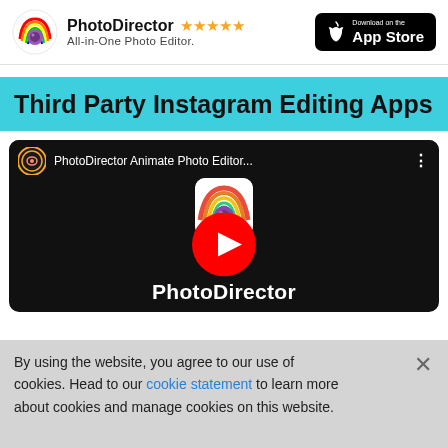PhotoDirector ★★★★★ All-in-One Photo Editor. | Download on the App Store
Third Party Instagram Editing Apps
[Figure (screenshot): YouTube video embed showing PhotoDirector Animate Photo Editor... with play button and PhotoDirector logo thumbnail on black background]
By using the website, you agree to our use of cookies. Head to our cookie statement to learn more about cookies and manage cookies on this website.